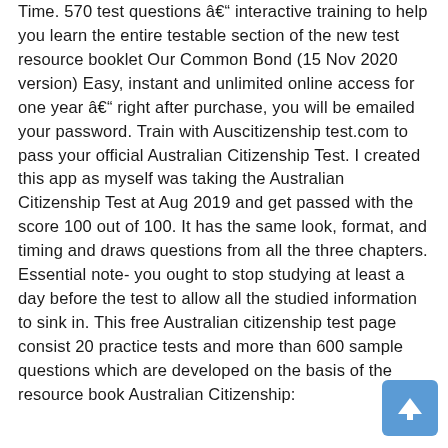Time. 570 test questions â interactive training to help you learn the entire testable section of the new test resource booklet Our Common Bond (15 Nov 2020 version) Easy, instant and unlimited online access for one year â right after purchase, you will be emailed your password. Train with Auscitizenship test.com to pass your official Australian Citizenship Test. I created this app as myself was taking the Australian Citizenship Test at Aug 2019 and get passed with the score 100 out of 100. It has the same look, format, and timing and draws questions from all the three chapters. Essential note- you ought to stop studying at least a day before the test to allow all the studied information to sink in. This free Australian citizenship test page consist 20 practice tests and more than 600 sample questions which are developed on the basis of the resource book Australian Citizenship:
[Figure (other): A blue scroll-to-top button with an upward arrow icon, positioned in the bottom-right corner of the page.]